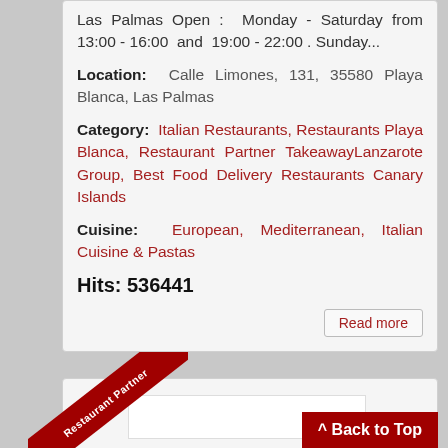Las Palmas Open : Monday - Saturday from 13:00 - 16:00 and 19:00 - 22:00 . Sunday...
Location: Calle Limones, 131, 35580 Playa Blanca, Las Palmas
Category: Italian Restaurants, Restaurants Playa Blanca, Restaurant Partner TakeawayLanzarote Group, Best Food Delivery Restaurants Canary Islands
Cuisine: European, Mediterranean, Italian Cuisine & Pastas
Hits: 536441
Read more
[Figure (other): Restaurant Partner ribbon/banner diagonal red badge on second card]
^ Back to Top